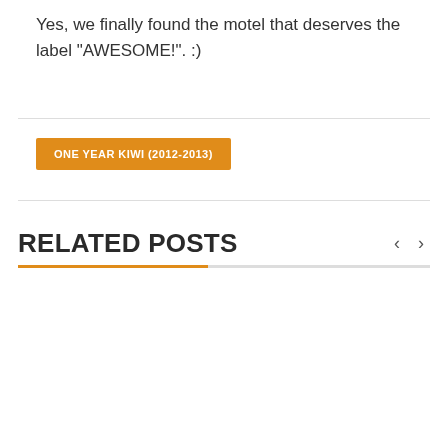Yes, we finally found the motel that deserves the label “AWESOME!”. :)
ONE YEAR KIWI (2012-2013)
RELATED POSTS